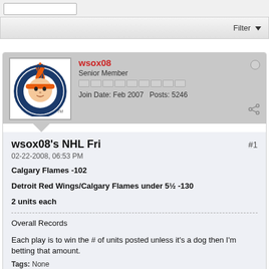Filter
[Figure (illustration): Forum user avatar showing a Native American chief logo (Chicago Blackhawks style) in a circular design with orange and navy colors]
wsox08
Senior Member
Join Date: Feb 2007   Posts: 5246
wsox08's NHL Fri
02-22-2008, 06:53 PM
Calgary Flames -102
Detroit Red Wings/Calgary Flames under 5½ -130
2 units each
Overall Records
Each play is to win the # of units posted unless it's a dog then I'm betting that amount.
Tags: None